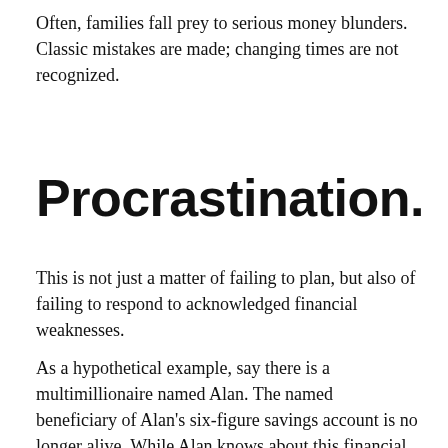Often, families fall prey to serious money blunders. Classic mistakes are made; changing times are not recognized.
Procrastination.
This is not just a matter of failing to plan, but also of failing to respond to acknowledged financial weaknesses.
As a hypothetical example, say there is a multimillionaire named Alan. The named beneficiary of Alan's six-figure savings account is no longer alive. While Alan knows about this financial flaw, knowledge is one thing, but action is another. He realizes he should name another beneficiary, but he never gets around to it. His acknowledged weakness has not been